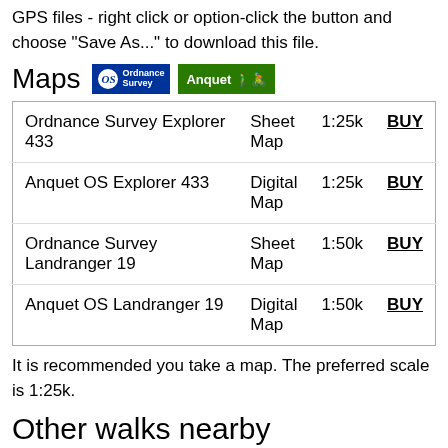GPS files - right click or option-click the button and choose "Save As..." to download this file.
Maps [Ordnance Survey logo] [Anquet logo]
| Map Name | Type | Scale | Action |
| --- | --- | --- | --- |
| Ordnance Survey Explorer 433 | Sheet Map | 1:25k | BUY |
| Anquet OS Explorer 433 | Digital Map | 1:25k | BUY |
| Ordnance Survey Landranger 19 | Sheet Map | 1:50k | BUY |
| Anquet OS Landranger 19 | Digital Map | 1:50k | BUY |
It is recommended you take a map. The preferred scale is 1:25k.
Other walks nearby